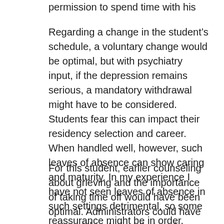permission to spend time with his mother.
Regarding a change in the student's schedule, a voluntary change would be optimal, but with psychiatry input, if the depression remains serious, a mandatory withdrawal might have to be considered. Students fear this can impact their residency selection and career. When handled well, however, such leaves of absence can show caring and maturity. In my experience I have not seen leaves of absence in such settings detrimental, so some reassurance might be in order.
For this student, earlier counseling about grieving and the importance of taking time off would have been optimal. Administrators could have assured the student that such leaves are common when a parent has a terminal diagnosis. Clearly the school has followed the student closely, which is positive, but by the end of the case definitively intervening...